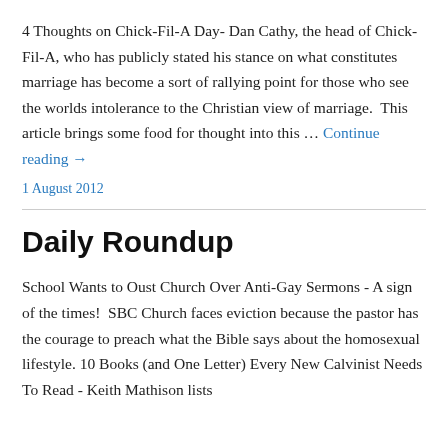4 Thoughts on Chick-Fil-A Day- Dan Cathy, the head of Chick-Fil-A, who has publicly stated his stance on what constitutes marriage has become a sort of rallying point for those who see the worlds intolerance to the Christian view of marriage.  This article brings some food for thought into this … Continue reading →
1 August 2012
Daily Roundup
School Wants to Oust Church Over Anti-Gay Sermons - A sign of the times!  SBC Church faces eviction because the pastor has the courage to preach what the Bible says about the homosexual lifestyle. 10 Books (and One Letter) Every New Calvinist Needs To Read - Keith Mathison lists